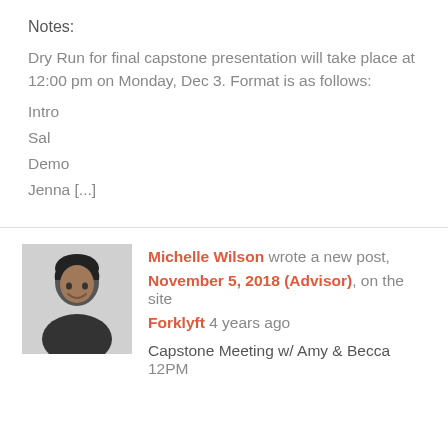Notes:
Dry Run for final capstone presentation will take place at 12:00 pm on Monday, Dec 3. Format is as follows:
Intro
Sal
Demo
Jenna [...]
Michelle Wilson wrote a new post, November 5, 2018 (Advisor), on the site Forklyft 4 years ago
Capstone Meeting w/ Amy & Becca
12PM